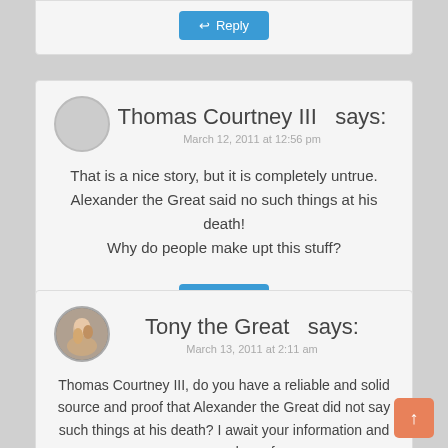[Figure (screenshot): Reply button (partial comment, top of page)]
Thomas Courtney III says:
March 12, 2011 at 12:56 pm
That is a nice story, but it is completely untrue. Alexander the Great said no such things at his death! Why do people make upt this stuff?
[Figure (screenshot): Reply button for Thomas Courtney III comment]
Tony the Great says:
March 13, 2011 at 2:11 am
Thomas Courtney III, do you have a reliable and solid source and proof that Alexander the Great did not say such things at his death? I await your information and source and proof.
[Figure (screenshot): Reply button for Tony the Great comment]